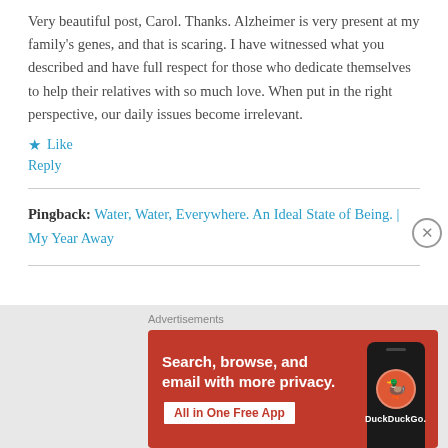Very beautiful post, Carol. Thanks. Alzheimer is very present at my family's genes, and that is scaring. I have witnessed what you described and have full respect for those who dedicate themselves to help their relatives with so much love. When put in the right perspective, our daily issues become irrelevant.
★ Like
Reply
Pingback: Water, Water, Everywhere. An Ideal State of Being. | My Year Away
[Figure (screenshot): DuckDuckGo advertisement banner with orange background showing 'Search, browse, and email with more privacy. All in One Free App' text and a phone graphic with DuckDuckGo logo. Label reads 'Advertisements'.]